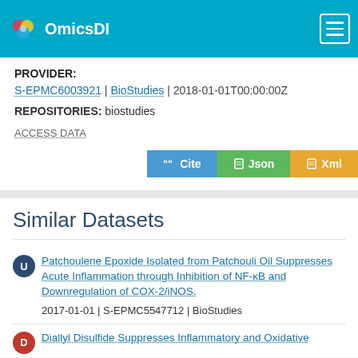OmicsDI
PROVIDER:
S-EPMC6003921 | BioStudies | 2018-01-01T00:00:00Z
REPOSITORIES: biostudies
ACCESS DATA
Cite | Json | Xml
Similar Datasets
Patchoulene Epoxide Isolated from Patchouli Oil Suppresses Acute Inflammation through Inhibition of NF-κB and Downregulation of COX-2/iNOS.
2017-01-01 | S-EPMC5547712 | BioStudies
Diallyl Disulfide Suppresses Inflammatory and Oxidative...